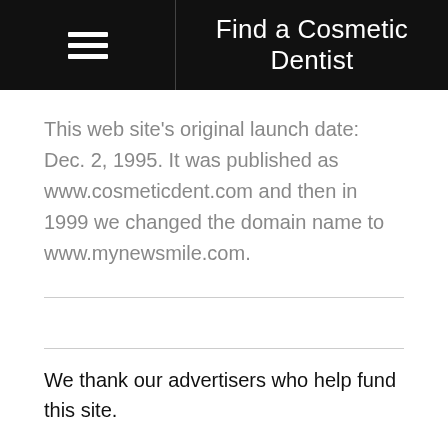Find a Cosmetic Dentist
This web site's original launch date: Dec. 2, 1995. It was published as www.cosmeticdent.com and then in 1999 we changed the domain name to www.mynewsmile.com.
We thank our advertisers who help fund this site.